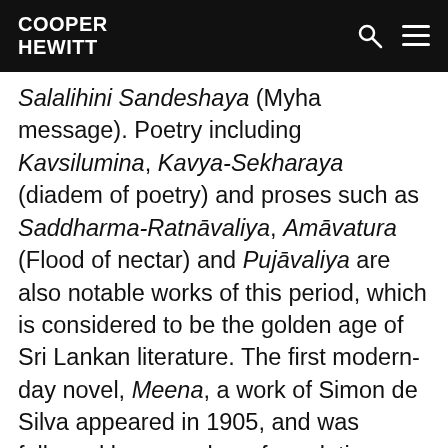COOPER HEWITT
Salalihini Sandeshaya (Myha message). Poetry including Kavsilumina, Kavya-Sekharaya (diadem of poetry) and proses such as Saddharma-Ratnāvaliya, Amāvatura (Flood of nectar) and Pujāvaliya are also notable works of this period, which is considered to be the golden age of Sri Lankan literature. The first modern-day novel, Meena, a work of Simon de Silva appeared in 1905, and was followed by a number of revolutionary literary works. Martin Wickramasinghe,